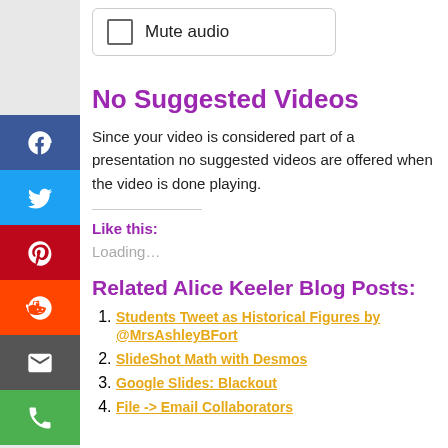[Figure (screenshot): Mute audio checkbox UI element inside rounded rectangle]
No Suggested Videos
Since your video is considered part of a presentation no suggested videos are offered when the video is done playing.
Like this:
Loading…
Related Alice Keeler Blog Posts:
Students Tweet as Historical Figures by @MrsAshleyBFort
SlideShot Math with Desmos
Google Slides: Blackout
File -> Email Collaborators